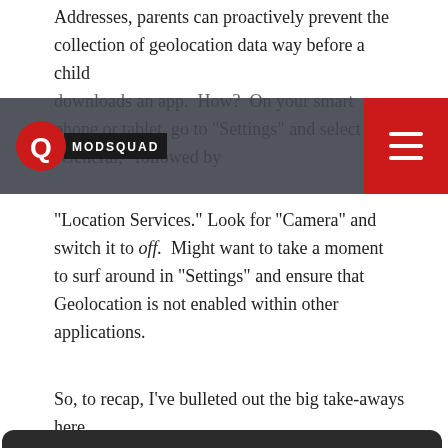Addresses, parents can proactively prevent the collection of geolocation data way before a child downloads an app. How? On your smart phone or tablet, go to "Settings" and select "General," followed by "Location Services." Look for "Camera" and switch it to off. Might want to take a moment to surf around in "Settings" and ensure that Geolocation is not enabled within other applications.
[Figure (screenshot): ModSquad website navigation bar with logo (red circle with Q and MODSQUAD text box) on the left and red hamburger menu on the right, with semi-transparent dark background overlay.]
So, to recap, I've bulleted out the big take-aways here,
To ensure you get the best experience, we use cookies on our website. By continuing to use our website you agree to our use of cookies. Learn more

GOT IT!